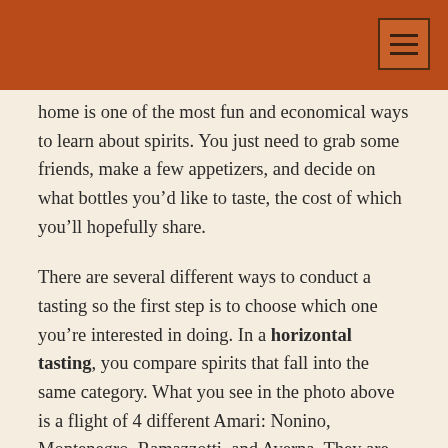home is one of the most fun and economical ways to learn about spirits. You just need to grab some friends, make a few appetizers, and decide on what bottles you’d like to taste, the cost of which you’ll hopefully share.
There are several different ways to conduct a tasting so the first step is to choose which one you’re interested in doing. In a horizontal tasting, you compare spirits that fall into the same category. What you see in the photo above is a flight of 4 different Amari: Nonino, Montenegro, Ramazzotti, and Averna. They are all similar, but have different nuances in their flavor profiles that you’ll be able to pick up when you taste them side by side. Once you